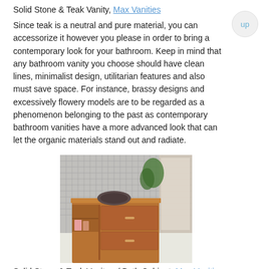Solid Stone & Teak Vanity, Max Vanities
Since teak is a neutral and pure material, you can accessorize it however you please in order to bring a contemporary look for your bathroom. Keep in mind that any bathroom vanity you choose should have clean lines, minimalist design, utilitarian features and also must save space. For instance, brassy designs and excessively flowery models are to be regarded as a phenomenon belonging to the past as contemporary bathroom vanities have a more advanced look that can let the organic materials stand out and radiate.
[Figure (photo): Photo of a solid stone and teak bathroom vanity with a dark stone bowl sink on top, wooden cabinet with drawers below, open shelf with towels, set against a mosaic tile wall with a window nearby.]
Solid Stone & Teak Vanity w/ Bath Cabinet, Max Vanities
A teak bathroom vanity comes with counter tops that are constructed from various materials. Also, they have